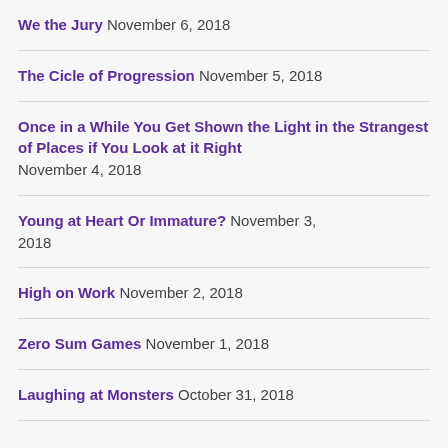We the Jury November 6, 2018
The Cicle of Progression November 5, 2018
Once in a While You Get Shown the Light in the Strangest of Places if You Look at it Right November 4, 2018
Young at Heart Or Immature? November 3, 2018
High on Work November 2, 2018
Zero Sum Games November 1, 2018
Laughing at Monsters October 31, 2018